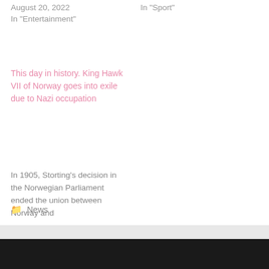August 20, 2022
In "Entertainment"
In "Sport"
This day in history. King Hawk VII of Norway goes into exile due to Nazi occupation
In 1905, Storting's decision in the Norwegian Parliament ended the union between Norway and
June 7, 2022
In "World"
News